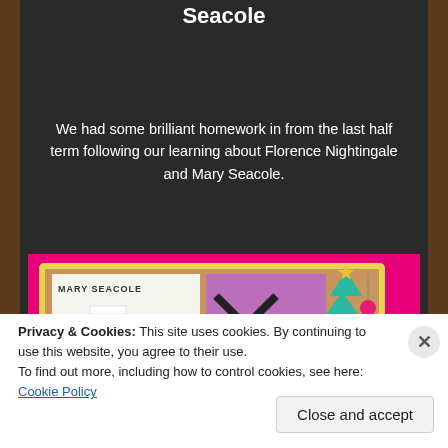Seacole
We had some brilliant homework in from the last half term following our learning about Florence Nightingale and Mary Seacole.
[Figure (photo): A photo of student homework about Mary Seacole displayed on a cork board with a yellow border on a bright pink background. The left panel shows a hand-drawn portrait labeled 'MARY SEACOLE', and the right panel shows a pink page with an X mark and handwritten text. A teal decorative tree ornament is visible in the top right.]
Privacy & Cookies: This site uses cookies. By continuing to use this website, you agree to their use.
To find out more, including how to control cookies, see here: Cookie Policy
Close and accept